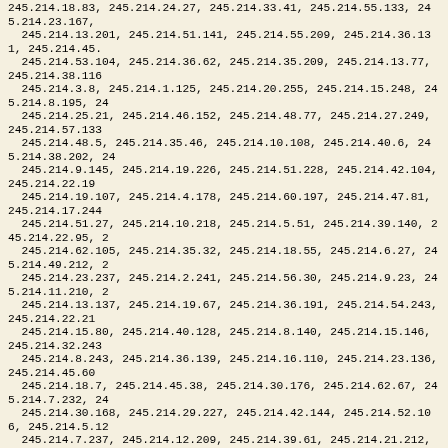245.214.18.83, 245.214.24.27, 245.214.33.41, 245.214.55.133, 245.214.23.167, 245.214.13.201, 245.214.51.141, 245.214.55.209, 245.214.36.131, 245.214.45. 245.214.53.104, 245.214.36.62, 245.214.35.209, 245.214.13.77, 245.214.38.116 245.214.3.8, 245.214.1.125, 245.214.20.255, 245.214.15.248, 245.214.8.195, 24 245.214.25.21, 245.214.46.152, 245.214.48.77, 245.214.27.249, 245.214.57.133 245.214.48.5, 245.214.35.46, 245.214.10.108, 245.214.40.6, 245.214.38.202, 24 245.214.9.145, 245.214.19.226, 245.214.51.228, 245.214.42.104, 245.214.22.19 245.214.19.107, 245.214.4.178, 245.214.60.197, 245.214.47.81, 245.214.17.244 245.214.51.27, 245.214.10.218, 245.214.5.51, 245.214.39.140, 245.214.22.95, 2 245.214.62.105, 245.214.35.32, 245.214.18.55, 245.214.6.27, 245.214.49.212, 2 245.214.23.237, 245.214.2.241, 245.214.56.30, 245.214.9.23, 245.214.11.210, 2 245.214.13.137, 245.214.19.67, 245.214.36.191, 245.214.54.243, 245.214.22.21 245.214.15.80, 245.214.40.128, 245.214.8.140, 245.214.15.146, 245.214.32.243 245.214.8.243, 245.214.36.139, 245.214.16.110, 245.214.23.136, 245.214.45.60 245.214.18.7, 245.214.45.38, 245.214.30.176, 245.214.62.67, 245.214.7.232, 24 245.214.30.168, 245.214.29.227, 245.214.42.144, 245.214.52.106, 245.214.5.12 245.214.7.237, 245.214.12.209, 245.214.39.61, 245.214.21.212, 245.214.13.204 245.214.34.23, 245.214.2.199, 245.214.8.81, 245.214.27.142, 245.214.22.175, 2 245.214.8.157, 245.214.58.39, 245.214.18.225, 245.214.4.56, 245.214.63.64, 24 245.214.58.40, 245.214.59.98, 245.214.4.194, 245.214.36.205, 245.214.36.107, 245.214.59.127, 245.214.22.209, 245.214.10.216, 245.214.53.125, 245.214.49.1 245.214.47.227, 245.214.44.45, 245.214.12.100, 245.214.53.134, 245.214.17.77 245.214.45.56, 245.214.43.170, 245.214.7.122, 245.214.26.171, 245.214.52.31, 245.214.37.214, 245.214.39.90, 245.214.48.220, 245.214.54.249, 245.214.19.19 245.214.19.177, 245.214.2.144, 245.214.24.145, 245.214.24.98, 245.214.1.32, 2 245.214.36.246, 245.214.51.19, 245.214.53.207, 245.214.47.143, 245.214.48.10 245.214.51.6, 245.214.18.11, 245.214.51.172, 245.214.43.142, 245.214.1.51, 24 245.214.50.201, 245.214.2.29, 245.214.30.47, 245.214.48.92, 245.214.42.212, 2 245.214.42.15, 245.214.35.244, 245.214.3.118, 245.214.59.236, 245.214.2.64, 2 245.214.12.252, 245.214.27.3, 245.214.16.23, 245.214.3.184, 245.214.27.99, 24 245.214.32.172, 245.214.19.100, 245.214.5.103, 245.214.29.106, 245.214.3.171 245.214.17.237, 245.214.3.167, 245.214.22.17, 245.214.50.98, 245.214.30.9, 24 245.214.31.182, 245.214.60.91, 245.214.57.99, 245.214.41.200, 245.214.21.1